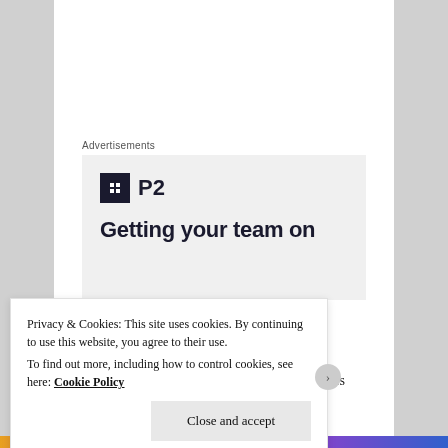[Figure (other): Advertisement banner with P2 logo (dark square icon with H shape and 'P2' text) and headline text 'Getting your team on']
Raes et al.
Molecular trait variation in the context of ecosystem processes in microbial communities using
Privacy & Cookies: This site uses cookies. By continuing to use this website, you agree to their use.
To find out more, including how to control cookies, see here: Cookie Policy
Close and accept